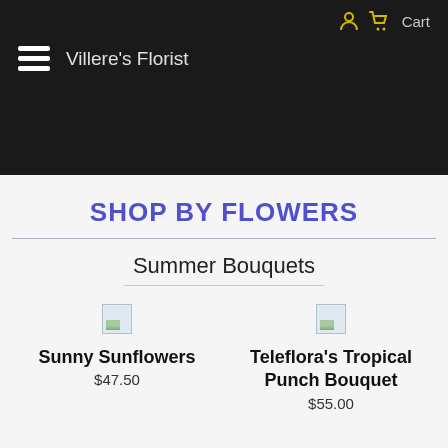Villere's Florist | Cart
SHOP BY FLOWERS
Summer Bouquets
[Figure (photo): Product image placeholder for Sunny Sunflowers]
Sunny Sunflowers
$47.50
[Figure (photo): Product image placeholder for Teleflora's Tropical Punch Bouquet]
Teleflora's Tropical Punch Bouquet
$55.00